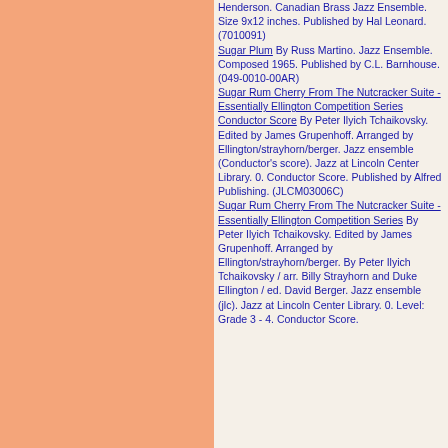Henderson. Canadian Brass Jazz Ensemble. Size 9x12 inches. Published by Hal Leonard. (7010091)
Sugar Plum By Russ Martino. Jazz Ensemble. Composed 1965. Published by C.L. Barnhouse. (049-0010-00AR)
Sugar Rum Cherry From The Nutcracker Suite - Essentially Ellington Competition Series Conductor Score By Peter Ilyich Tchaikovsky. Edited by James Grupenhoff. Arranged by Ellington/strayhorn/berger. Jazz ensemble (Conductor's score). Jazz at Lincoln Center Library. 0. Conductor Score. Published by Alfred Publishing. (JLCM03006C)
Sugar Rum Cherry From The Nutcracker Suite - Essentially Ellington Competition Series By Peter Ilyich Tchaikovsky. Edited by James Grupenhoff. Arranged by Ellington/strayhorn/berger. By Peter Ilyich Tchaikovsky / arr. Billy Strayhorn and Duke Ellington / ed. David Berger. Jazz ensemble (jlc). Jazz at Lincoln Center Library. 0. Level: Grade 3 - 4. Conductor Score.